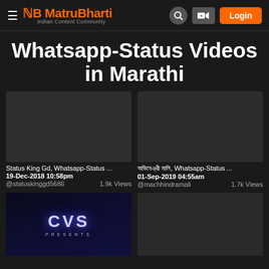MatruBharti - Indian Content Community | Login
Whatsapp-Status Videos in Marathi
[Figure (screenshot): Dark video thumbnail 1 (blank/dark)]
Status King Gd, Whatsapp-Status ...
19-Dec-2018 10:58pm
@statuskinggd5686   1.9k Views
[Figure (screenshot): Dark video thumbnail 2 (blank/dark)]
xxxxxxxxxx xxxx, Whatsapp-Status ...
01-Sep-2019 04:55am
@machhindramali   1.7k Views
[Figure (screenshot): Video thumbnail showing CVS Presents logo on dark background]
[Figure (screenshot): Dark video thumbnail 4 (blank/dark)]